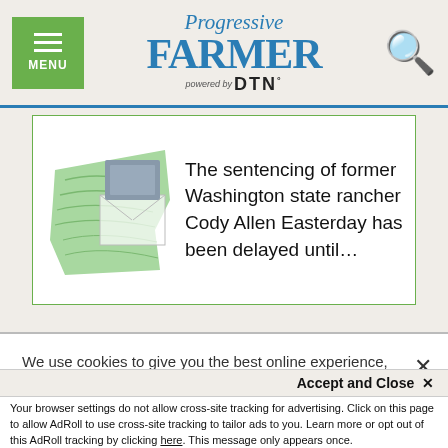Progressive FARMER powered by DTN
The sentencing of former Washington state rancher Cody Allen Easterday has been delayed until...
On the other hand, if crazy Vlad had a change of heart and backed off his deadly charade, markets could calm down dramatically.
We use cookies to give you the best online experience, to personalize content and ads, to provide social media features and to analyze traffic. By clicking 'Accept All Cookies' you will allow the use of these cookies. Your settings can be changed, including withdrawing your consent at any time, by clicking 'Cookie Settings'. Find out more on how we and third parties use cookies in our  Cookie Policy
Accept and Close ✕
Your browser settings do not allow cross-site tracking for advertising. Click on this page to allow AdRoll to use cross-site tracking to tailor ads to you. Learn more or opt out of this AdRoll tracking by clicking here. This message only appears once.